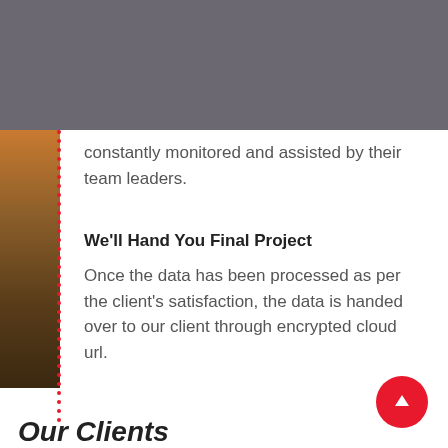[Figure (logo): Drone Mybase logo — red network/drone icon above bold red DRONE text with 'mybase' subtitle in grey]
constantly monitored and assisted by their team leaders.
We'll Hand You Final Project
Once the data has been processed as per the client's satisfaction, the data is handed over to our client through encrypted cloud url.
Our Clients